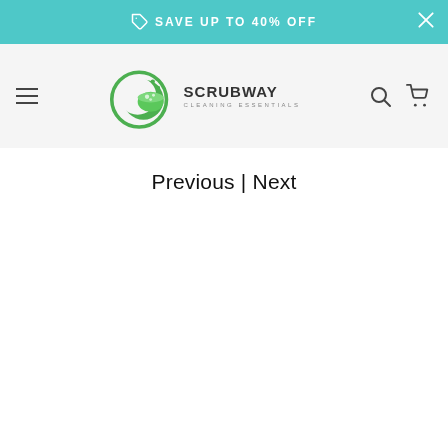SAVE UP TO 40% OFF
[Figure (logo): Scrubway Cleaning Essentials logo with green circular design and navigation bar with hamburger menu, search and cart icons]
Previous | Next